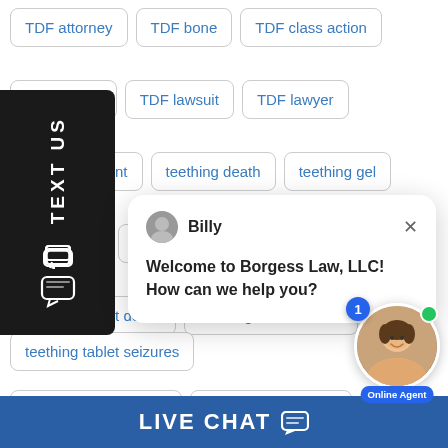TDF attorney
TDF bone
TDF class action
TDF kidney
TDF lawsuit
TDF lawyer
TDF settlement
teething death
teething gel
hing gel re…
hing tablet…
teething tablet death
teething tablet lawsuit
teething tablet lawyer
teething tablet react…
teething tablet seizures
[Figure (screenshot): Live chat popup from Billy at Borgess Law, LLC saying 'Welcome to Borgess Law, LLC! How can we help you?' with an online agent photo and notification badge showing 1]
Welcome to Borgess Law, LLC! How can we help you?
LIVE CHAT